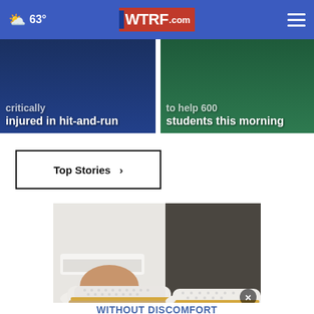WTRF.com — 63°
critically injured in hit-and-run
to help 600 students this morning
Top Stories ›
[Figure (photo): Close-up of person wearing white sneakers/shoes with woven texture and gold/tan stripe, white pants, dark pavement background]
FIRST CHOICE AMERICA — WE HAVE THE KEYS TO YOUR NEW VEHICLE WITH OUR GREAT LOW RATES! NCUA
without Discomfort